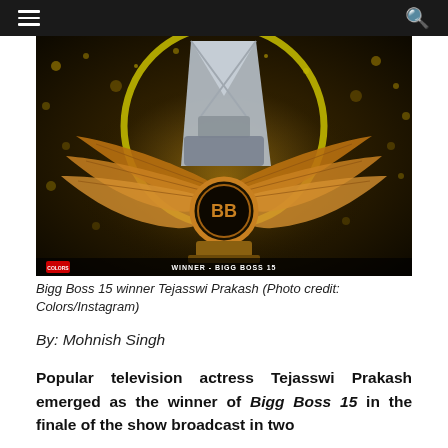≡   🔍
[Figure (photo): Bigg Boss 15 winner Tejasswi Prakash posing with the golden BB trophy with wings, wearing a silver outfit, against a dark gold bokeh background]
Bigg Boss 15 winner Tejasswi Prakash (Photo credit: Colors/Instagram)
By: Mohnish Singh
Popular television actress Tejasswi Prakash emerged as the winner of Bigg Boss 15 in the finale of the show broadcast in two